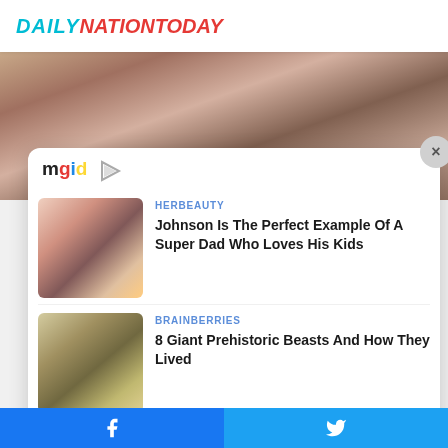DAILYNATIONTODAY
[Figure (photo): Background photo showing a person with long hair, partial view]
[Figure (screenshot): MGID advertisement widget showing two article recommendations: 1) HERBEAUTY - Johnson Is The Perfect Example Of A Super Dad Who Loves His Kids, 2) BRAINBERRIES - 8 Giant Prehistoric Beasts And How They Lived]
HERBEAUTY
Johnson Is The Perfect Example Of A Super Dad Who Loves His Kids
BRAINBERRIES
8 Giant Prehistoric Beasts And How They Lived
Facebook Twitter